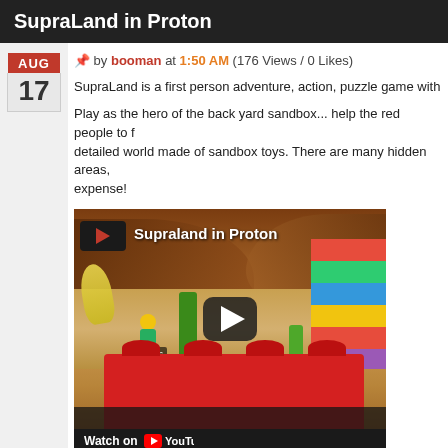SupraLand in Proton
📌 by booman at 1:50 AM (176 Views / 0 Likes)
SupraLand is a first person adventure, action, puzzle game with som
Play as the hero of the back yard sandbox... help the red people to f detailed world made of sandbox toys. There are many hidden areas, expense!
[Figure (screenshot): YouTube video thumbnail showing Supraland in Proton game footage - a colorful toy/LEGO-style first-person game scene with cacti, red LEGO bricks, and colorful characters. Video title 'Supraland in Proton' overlaid with play button. Watch on YouTube bar at bottom.]